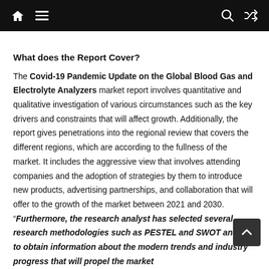Navigation bar with home, menu, search, and shuffle icons
What does the Report Cover?
The Covid-19 Pandemic Update on the Global Blood Gas and Electrolyte Analyzers market report involves quantitative and qualitative investigation of various circumstances such as the key drivers and constraints that will affect growth. Additionally, the report gives penetrations into the regional review that covers the different regions, which are according to the fullness of the market. It includes the aggressive view that involves attending companies and the adoption of strategies by them to introduce new products, advertising partnerships, and collaboration that will offer to the growth of the market between 2021 and 2030. "Furthermore, the research analyst has selected several research methodologies such as PESTEL and SWOT analysis to obtain information about the modern trends and industry progress that will propel the market